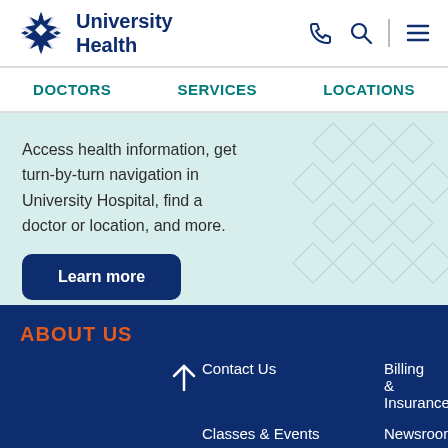[Figure (logo): University Health logo with star/snowflake icon and text 'University Health' in dark navy blue]
University Health
DOCTORS   SERVICES   LOCATIONS
Access health information, get turn-by-turn navigation in University Hospital, find a doctor or location, and more.
Learn more
ABOUT US
Contact Us
Billing & Insurance
Classes & Events
Newsroom
Notice of 2022 Tax Rate
Public Notices & Reports